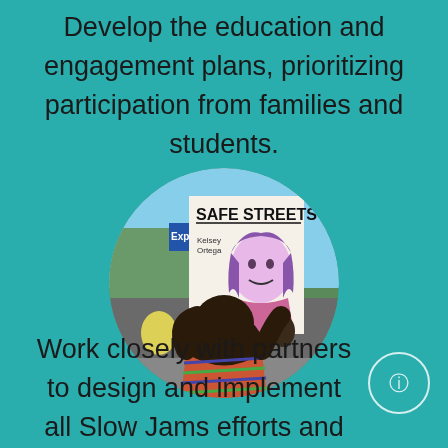Develop the education and engagement plans, prioritizing participation from families and students.
[Figure (photo): Circular cropped photo of a person holding up a protest sign that reads 'SAFE STREETS' at a street demonstration, with illustrated artwork on the sign depicting a woman with purple hair.]
Work closely with partners to design and implement all Slow Jams efforts and organizing